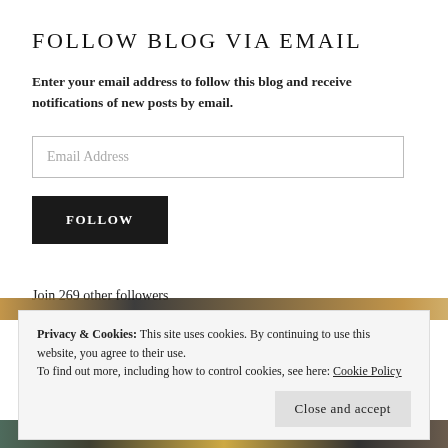FOLLOW BLOG VIA EMAIL
Enter your email address to follow this blog and receive notifications of new posts by email.
Email Address
FOLLOW
Join 269 other followers
[Figure (photo): Decorative image strip at top of bottom section]
Privacy & Cookies: This site uses cookies. By continuing to use this website, you agree to their use.
To find out more, including how to control cookies, see here: Cookie Policy
Close and accept
[Figure (photo): Partial book cover image at bottom]